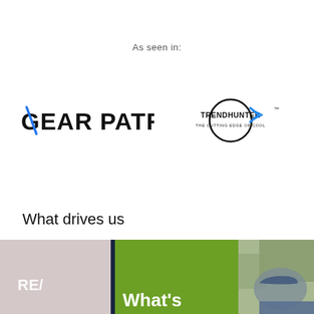As seen in:
[Figure (logo): Gear Patrol logo — bold uppercase sans-serif text with a blue angled slash through the G]
[Figure (logo): Trendhunter logo — circular badge with TRENDHUNTER text and tagline THE CUTTING EDGE OF COOL, with a blue arrow/swoosh element]
What drives us
[Figure (photo): Cropped image showing a green panel with RE/ text and What's partially visible, alongside a person wearing a blue baseball cap outdoors]